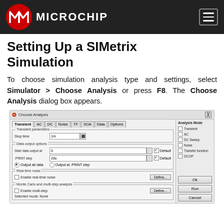Microchip
Setting Up a SIMetrix Simulation
To choose simulation analysis type and settings, select Simulator > Choose Analysis or press F8. The Choose Analysis dialog box appears.
[Figure (screenshot): Screenshot of the SIMetrix 'Choose Analysis' dialog box showing Transient tab selected with parameters for Stop time (1m), Data output options including Start data output at 0 (Default checked), .PRINT step 20u (Default checked), Output all data radio selected, Output at .PRINT step radio, Real time noise section with Enable real-time noise checkbox and Define button, Monte Carlo and multi-step analysis section with Enable multi-step checkbox, Define button, and Selected mode: None. Right panel shows Analysis Mode checkboxes: Transient, AC, DC Sweep, Noise, Transfer function, DCOP. Bottom right buttons: Ok, Run, Cancel.]